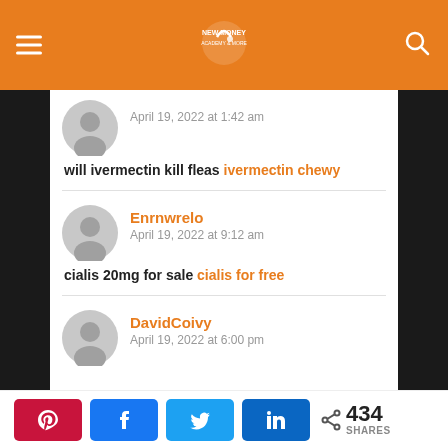New Money (logo/site header with menu and search)
April 19, 2022 at 1:42 am
will ivermectin kill fleas ivermectin chewy
Enrnwrelo
April 19, 2022 at 9:12 am
cialis 20mg for sale cialis for free
DavidCoivy
April 19, 2022 at 6:00 pm
434 SHARES